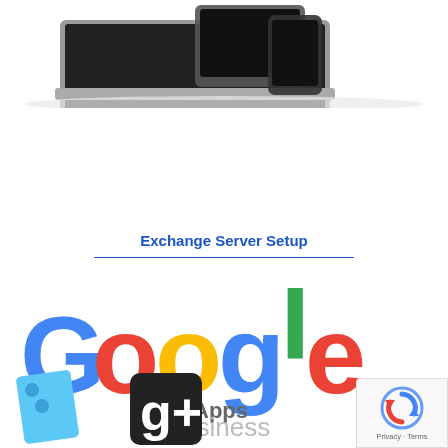[Figure (photo): Laptop and tablet/smartphone devices from above on white reflective surface]
Email Servers
Exchange Server Setup
[Figure (logo): Google Apps for business logo with colorful Google lettering and 'Apps for business' text below]
[Figure (photo): Google Apps icons including a blue document icon and Google+ icon]
[Figure (other): reCAPTCHA badge with Privacy and Terms links]